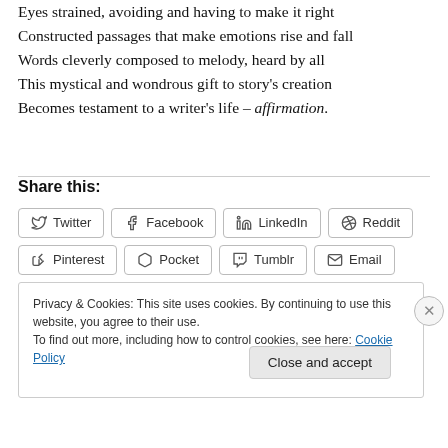Eyes strained, avoiding and having to make it right
Constructed passages that make emotions rise and fall
Words cleverly composed to melody, heard by all
This mystical and wondrous gift to story's creation
Becomes testament to a writer's life – affirmation.
Share this:
Twitter | Facebook | LinkedIn | Reddit | Pinterest | Pocket | Tumblr | Email
Privacy & Cookies: This site uses cookies. By continuing to use this website, you agree to their use. To find out more, including how to control cookies, see here: Cookie Policy
Close and accept